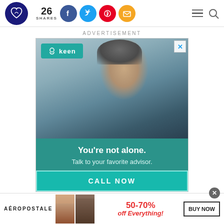[Figure (logo): Website logo: heart icon in dark navy circle]
26 SHARES
[Figure (infographic): Social share icons: Facebook (blue), Twitter (light blue), Pinterest (red), Email (yellow/orange)]
[Figure (infographic): Navigation icons: hamburger menu and search/magnifying glass]
ADVERTISEMENT
[Figure (photo): Keen advertisement: woman in grey knit beanie hat talking on phone, smiling. Keen brand overlay in teal top-left. Text overlay: You're not alone. Talk to your favorite advisor. CALL NOW button.]
[Figure (photo): Aeropostale bottom banner advertisement: 50-70% off Everything! BUY NOW button, with two model photos]